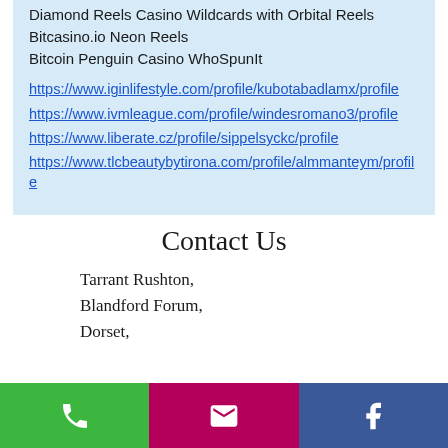Diamond Reels Casino Wildcards with Orbital Reels
Bitcasino.io Neon Reels
Bitcoin Penguin Casino WhoSpunIt
https://www.iginlifestyle.com/profile/kubotabadlamx/profile
https://www.ivmleague.com/profile/windesromano3/profile
https://www.liberate.cz/profile/sippelsyckc/profile
https://www.tlcbeautybytirona.com/profile/almmanteym/profile
Contact Us
Tarrant Rushton,
Blandford Forum,
Dorset,